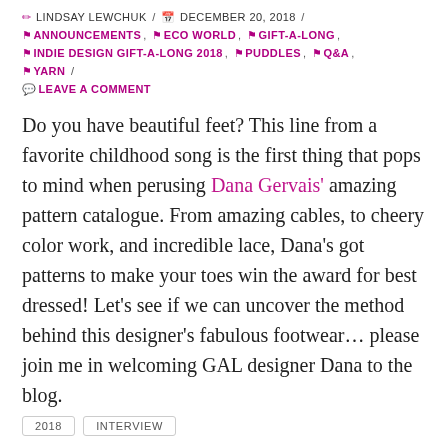✏ LINDSAY LEWCHUK / 📅 DECEMBER 20, 2018 / 🔖 ANNOUNCEMENTS, 🔖 ECO WORLD, 🔖 GIFT-A-LONG, 🔖 INDIE DESIGN GIFT-A-LONG 2018, 🔖 PUDDLES, 🔖 Q&A, 🔖 YARN /
💬 LEAVE A COMMENT
Do you have beautiful feet? This line from a favorite childhood song is the first thing that pops to mind when perusing Dana Gervais' amazing pattern catalogue. From amazing cables, to cheery color work, and incredible lace, Dana's got patterns to make your toes win the award for best dressed! Let's see if we can uncover the method behind this designer's fabulous footwear… please join me in welcoming GAL designer Dana to the blog.
2018   INTERVIEW